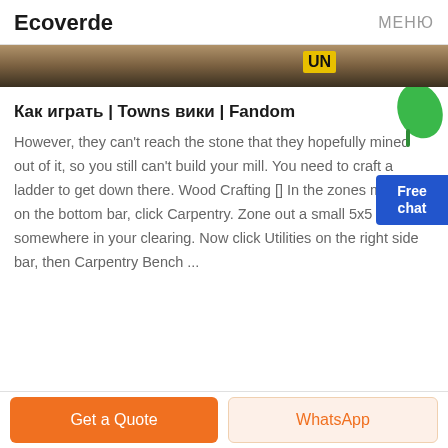Ecoverde   МЕНЮ
[Figure (photo): Banner photo showing a dark construction/mining scene with a yellow UN sign visible]
Как играть | Towns вики | Fandom
However, they can't reach the stone that they hopefully mined out of it, so you still can't build your mill. You need to craft a ladder to get down there. Wood Crafting [] In the zones menu on the bottom bar, click Carpentry. Zone out a small 5x5 area somewhere in your clearing. Now click Utilities on the right side bar, then Carpentry Bench ...
Get a Quote
WhatsApp